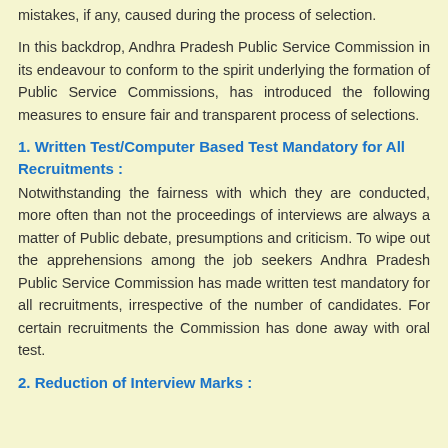mistakes, if any, caused during the process of selection.
In this backdrop, Andhra Pradesh Public Service Commission in its endeavour to conform to the spirit underlying the formation of Public Service Commissions, has introduced the following measures to ensure fair and transparent process of selections.
1. Written Test/Computer Based Test Mandatory for All Recruitments :
Notwithstanding the fairness with which they are conducted, more often than not the proceedings of interviews are always a matter of Public debate, presumptions and criticism. To wipe out the apprehensions among the job seekers Andhra Pradesh Public Service Commission has made written test mandatory for all recruitments, irrespective of the number of candidates. For certain recruitments the Commission has done away with oral test.
2. Reduction of Interview Marks :